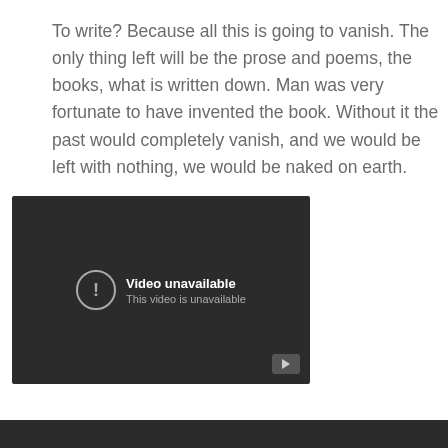To write? Because all this is going to vanish. The only thing left will be the prose and poems, the books, what is written down. Man was very fortunate to have invented the book. Without it the past would completely vanish, and we would be left with nothing, we would be naked on earth.
[Figure (screenshot): Embedded video player showing 'Video unavailable' error message with YouTube play button icon in bottom right corner. Dark background with exclamation icon and text.]